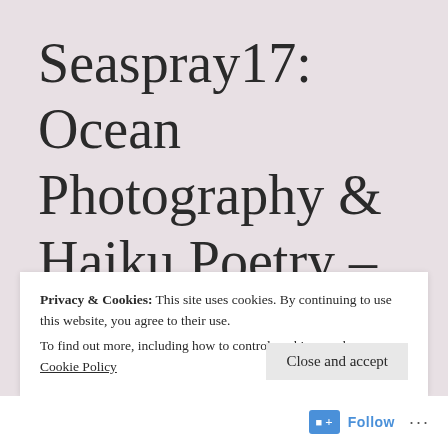Seaspray17: Ocean Photography & Haiku Poetry – Review
Privacy & Cookies: This site uses cookies. By continuing to use this website, you agree to their use.
To find out more, including how to control cookies, see here: Cookie Policy
Close and accept
Follow